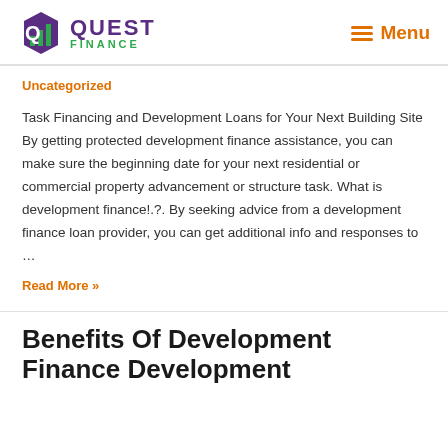QUEST FINANCE | Menu
Uncategorized
Task Financing and Development Loans for Your Next Building Site By getting protected development finance assistance, you can make sure the beginning date for your next residential or commercial property advancement or structure task. What is development finance!.?. By seeking advice from a development finance loan provider, you can get additional info and responses to …
Read More »
Benefits Of Development Finance Development